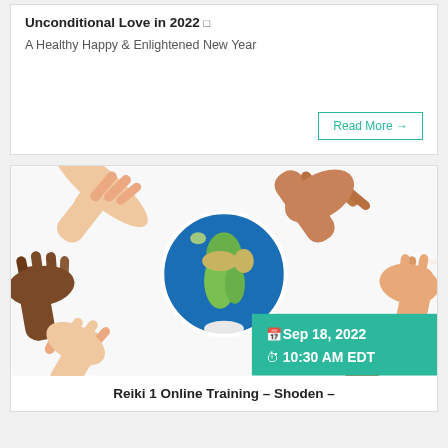Unconditional Love in 2022
A Healthy Happy & Enlightened New Year
Read More →
[Figure (photo): Multiple diverse hands of different skin tones arranged in a circle around a globe showing Africa and Europe, symbolizing unity and global community. Overlaid green badge shows date Sep 18, 2022 at 10:30 AM EDT.]
Reiki 1 Online Training – Shoden –